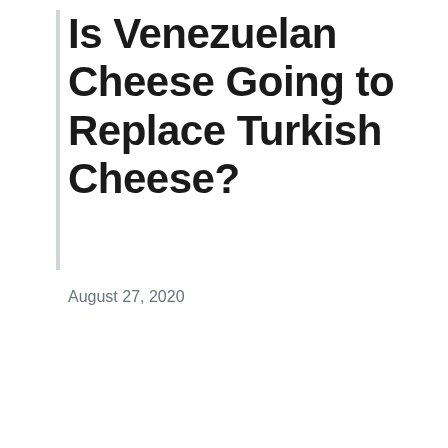Is Venezuelan Cheese Going to Replace Turkish Cheese?
August 27, 2020